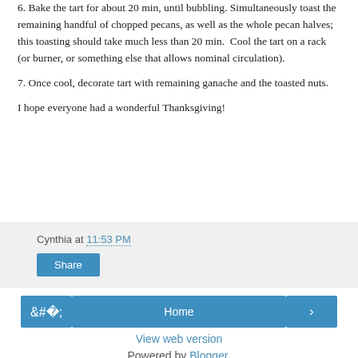6. Bake the tart for about 20 min, until bubbling. Simultaneously toast the remaining handful of chopped pecans, as well as the whole pecan halves; this toasting should take much less than 20 min.  Cool the tart on a rack (or burner, or something else that allows nominal circulation).
7. Once cool, decorate tart with remaining ganache and the toasted nuts.
I hope everyone had a wonderful Thanksgiving!
Cynthia at 11:53 PM
Share
Home | View web version | Powered by Blogger.